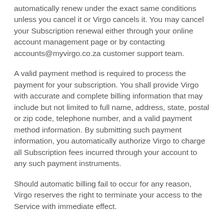automatically renew under the exact same conditions unless you cancel it or Virgo cancels it. You may cancel your Subscription renewal either through your online account management page or by contacting accounts@myvirgo.co.za customer support team.
A valid payment method is required to process the payment for your subscription. You shall provide Virgo with accurate and complete billing information that may include but not limited to full name, address, state, postal or zip code, telephone number, and a valid payment method information. By submitting such payment information, you automatically authorize Virgo to charge all Subscription fees incurred through your account to any such payment instruments.
Should automatic billing fail to occur for any reason, Virgo reserves the right to terminate your access to the Service with immediate effect.